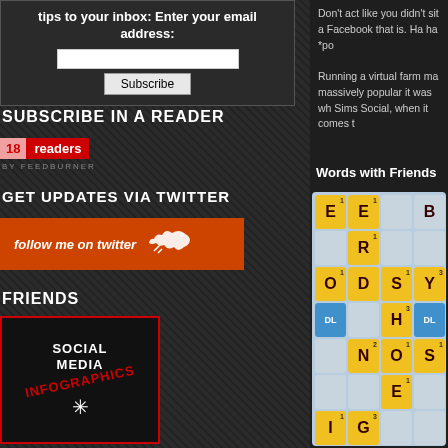tips to your inbox: Enter your email address:
Subscribe
SUBSCRIBE IN A READER
18 readers BY FEEDBURNER
GET UPDATES VIA TWITTER
follow me on twitter
FRIENDS
[Figure (logo): Social Media Infographics badge with red border, dark background, diagonal red text and sun icon]
CATEGORIES
Don't act like you didn't sit a Facebook that is. Ha ha *po
Running a virtual farm ma massively popular it was wh Sims Social, when it comes t
Words with Friends
[Figure (screenshot): Words with Friends scrabble-style game board showing letter tiles: E, E, B, R, O, D, E, S, Y, DL, H, DL, N, O, O, S, E, I, G]